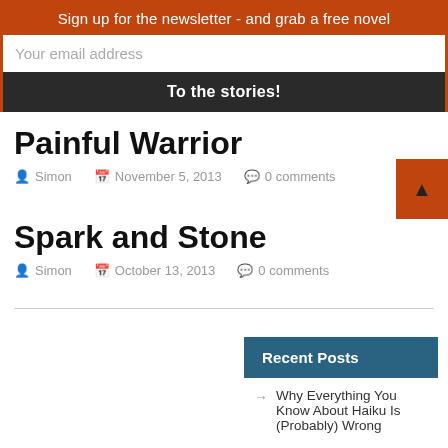Sign up for the newsletter - and grab a free novel
Your email address
To the stories!
Painful Warrior
Simon  November 5, 2013  0 comments
Spark and Stone
Simon  October 13, 2013  0 comments
Recent Posts
Why Everything You Know About Haiku Is (Probably) Wrong